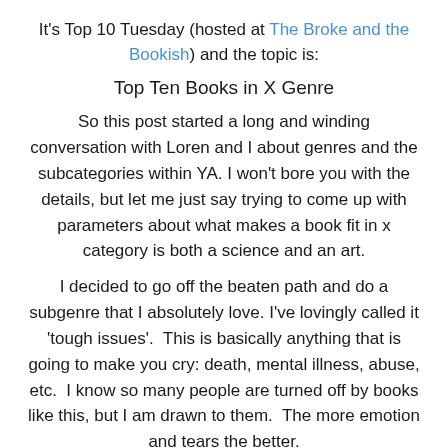It's Top 10 Tuesday (hosted at The Broke and the Bookish) and the topic is:
Top Ten Books in X Genre
So this post started a long and winding conversation with Loren and I about genres and the subcategories within YA. I won't bore you with the details, but let me just say trying to come up with parameters about what makes a book fit in x category is both a science and an art.
I decided to go off the beaten path and do a subgenre that I absolutely love. I've lovingly called it 'tough issues'.  This is basically anything that is going to make you cry: death, mental illness, abuse, etc.  I know so many people are turned off by books like this, but I am drawn to them.  The more emotion and tears the better.